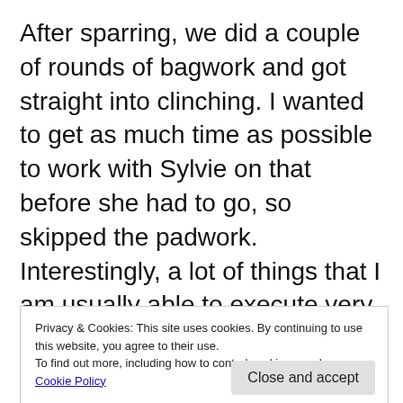After sparring, we did a couple of rounds of bagwork and got straight into clinching. I wanted to get as much time as possible to work with Sylvie on that before she had to go, so skipped the padwork. Interestingly, a lot of things that I am usually able to execute very well with my other clinching partners, I wasn't able to use with Sylvie. This was mainly because she was so fast. At times, even when I saw my opening a ... w ... n ... throw me around, though (contrary to my
Privacy & Cookies: This site uses cookies. By continuing to use this website, you agree to their use.
To find out more, including how to control cookies, see here: Cookie Policy